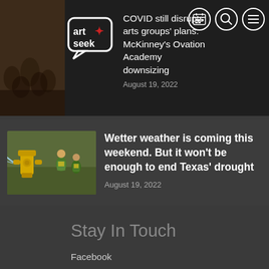COVID still disrupts arts groups' plans. McKinney's Ovation Academy downsizing — August 19, 2022
Wetter weather is coming this weekend. But it won't be enough to end Texas' drought
August 19, 2022
Stay In Touch
Facebook
Twitter
Instagram